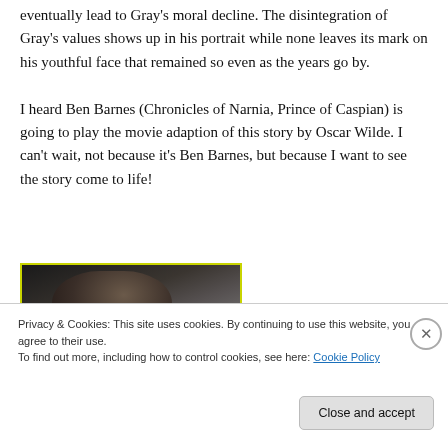eventually lead to Gray's moral decline. The disintegration of Gray's values shows up in his portrait while none leaves its mark on his youthful face that remained so even as the years go by.
I heard Ben Barnes (Chronicles of Narnia, Prince of Caspian) is going to play the movie adaption of this story by Oscar Wilde. I can't wait, not because it's Ben Barnes, but because I want to see the story come to life!
[Figure (photo): Dark photograph partially visible, showing a person in dim lighting with a yellow-green border]
Privacy & Cookies: This site uses cookies. By continuing to use this website, you agree to their use.
To find out more, including how to control cookies, see here: Cookie Policy
Close and accept